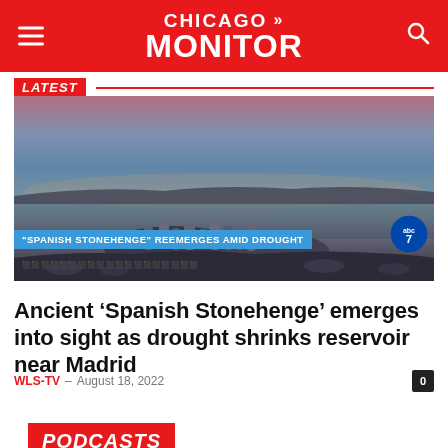CHICAGO >> MONITOR
LATEST
[Figure (photo): Sunset photo of a reservoir with ancient stone formations emerging from the water, with a chyron reading '"SPANISH STONEHENGE" REEMERGES AMID DROUGHT' and an ABC7 logo in the lower right.]
Ancient ‘Spanish Stonehenge’ emerges into sight as drought shrinks reservoir near Madrid
WLS-TV – August 18, 2022
PODCASTS